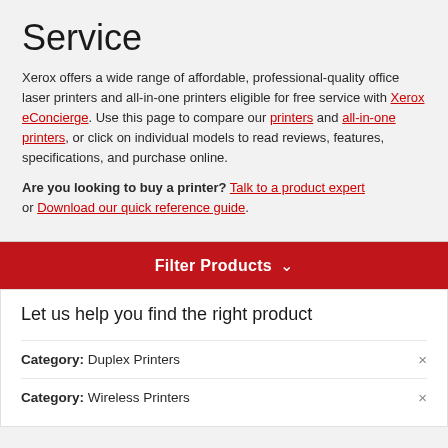Service
Xerox offers a wide range of affordable, professional-quality office laser printers and all-in-one printers eligible for free service with Xerox eConcierge. Use this page to compare our printers and all-in-one printers, or click on individual models to read reviews, features, specifications, and purchase online.
Are you looking to buy a printer? Talk to a product expert or Download our quick reference guide.
Filter Products
Let us help you find the right product
Category: Duplex Printers
Category: Wireless Printers